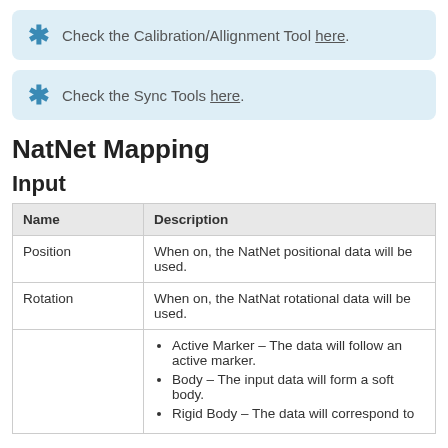Check the Calibration/Allignment Tool here.
Check the Sync Tools here.
NatNet Mapping
Input
| Name | Description |
| --- | --- |
| Position | When on, the NatNet positional data will be used. |
| Rotation | When on, the NatNat rotational data will be used. |
|  | • Active Marker – The data will follow an active marker.
• Body – The input data will form a soft body.
• Rigid Body – The data will correspond to |